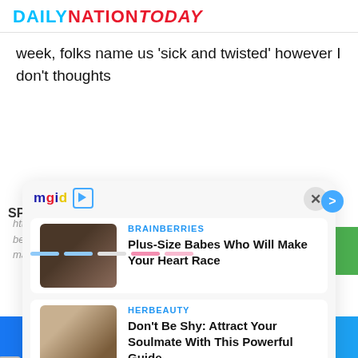DAILYNATIONTODAY
week, folks name us ‘sick and twisted’ however I don’t thoughts
[Figure (screenshot): MGID sponsored content widget overlay with two article cards: 1) BRAINBERRIES - 'Plus-Size Babes Who Will Make Your Heart Race' with woman photo, 2) HERBEAUTY - 'Don't Be Shy: Attract Your Soulmate With This Powerful Guide' with couple photo. Close button (X) in top right.]
Facebook share | Twitter share